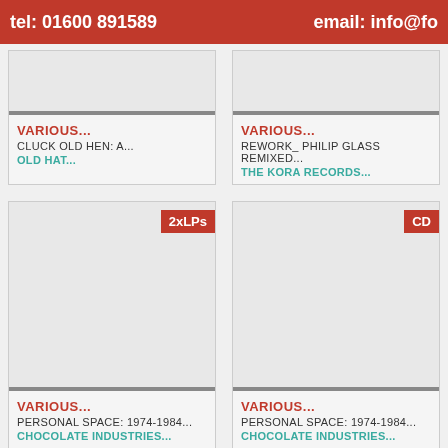tel: 01600 891589  email: info@fo
[Figure (other): Album/record product card top - image area cropped, with text: VARIOUS... / CLUCK OLD HEN: A... / OLD HAT...]
VARIOUS...
CLUCK OLD HEN: A...
OLD HAT...
[Figure (other): Album/record product card top - image area cropped, with text: VARIOUS... / REWORK_ PHILIP GLASS REMIXED... / THE KORA RECORDS...]
VARIOUS...
REWORK_ PHILIP GLASS REMIXED...
THE KORA RECORDS...
[Figure (other): Album/record product card with badge 2xLPs, image area blank/grey, text: VARIOUS... / PERSONAL SPACE: 1974-1984... / CHOCOLATE INDUSTRIES...]
VARIOUS...
PERSONAL SPACE: 1974-1984...
CHOCOLATE INDUSTRIES...
[Figure (other): Album/record product card with badge CD, image area blank/grey, text: VARIOUS... / PERSONAL SPACE: 1974-1984... / CHOCOLATE INDUSTRIES...]
VARIOUS...
PERSONAL SPACE: 1974-1984...
CHOCOLATE INDUSTRIES...